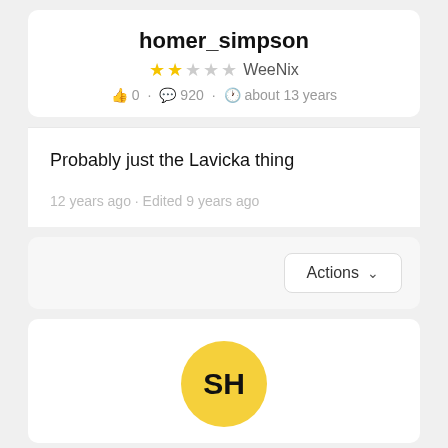homer_simpson
★★☆☆☆ WeeNix
👍 0 · 💬 920 · 🕐 about 13 years
Probably just the Lavicka thing
12 years ago · Edited 9 years ago
Actions
[Figure (illustration): Yellow circle avatar with initials SH in bold black text]